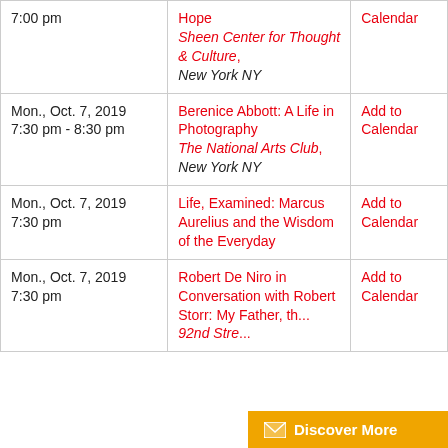| Date/Time | Event/Venue | Action |
| --- | --- | --- |
| 7:00 pm | Hope
Sheen Center for Thought & Culture, New York NY | Calendar |
| Mon., Oct. 7, 2019
7:30 pm - 8:30 pm | Berenice Abbott: A Life in Photography
The National Arts Club, New York NY | Add to Calendar |
| Mon., Oct. 7, 2019
7:30 pm | Life, Examined: Marcus Aurelius and the Wisdom of the Everyday | Add to Calendar |
| Mon., Oct. 7, 2019
7:30 pm | Robert De Niro in Conversation with Robert Storr: My Father, th...
92nd Stre... | Add to Calendar |